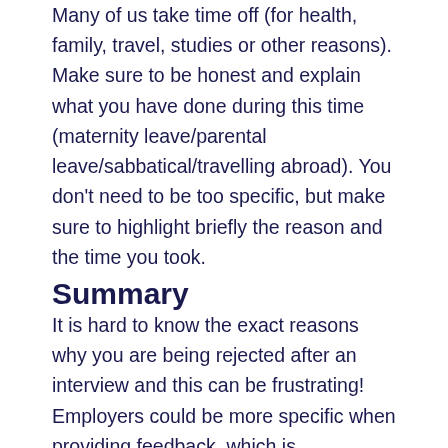Many of us take time off (for health, family, travel, studies or other reasons). Make sure to be honest and explain what you have done during this time (maternity leave/parental leave/sabbatical/travelling abroad). You don't need to be too specific, but make sure to highlight briefly the reason and the time you took.
Summary
It is hard to know the exact reasons why you are being rejected after an interview and this can be frustrating! Employers could be more specific when providing feedback, which is unfortunately not often the case because of lack of time. It can be helpful to reflect on some of the most